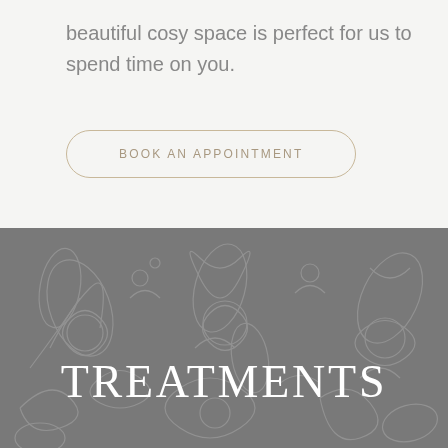beautiful cosy space is perfect for us to spend time on you.
BOOK AN APPOINTMENT
TREATMENTS